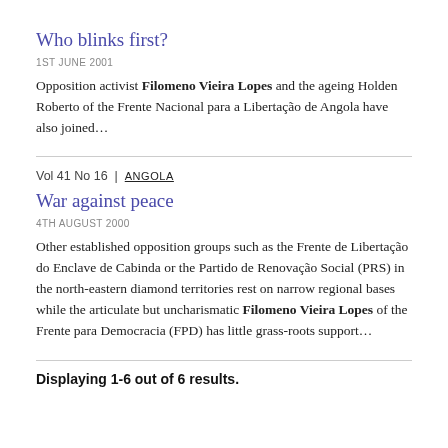Who blinks first?
1ST JUNE 2001
Opposition activist Filomeno Vieira Lopes and the ageing Holden Roberto of the Frente Nacional para a Libertação de Angola have also joined…
Vol 41 No 16 | ANGOLA
War against peace
4TH AUGUST 2000
Other established opposition groups such as the Frente de Libertação do Enclave de Cabinda or the Partido de Renovação Social (PRS) in the north-eastern diamond territories rest on narrow regional bases while the articulate but uncharismatic Filomeno Vieira Lopes of the Frente para Democracia (FPD) has little grass-roots support…
Displaying 1-6 out of 6 results.